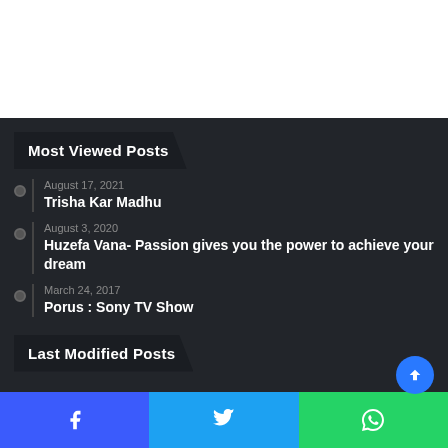Most Viewed Posts
August 17, 2021 — Trisha Kar Madhu
August 3, 2020 — Huzefa Vana- Passion gives you the power to achieve your dream
March 24, 2017 — Porus : Sony TV Show
Last Modified Posts